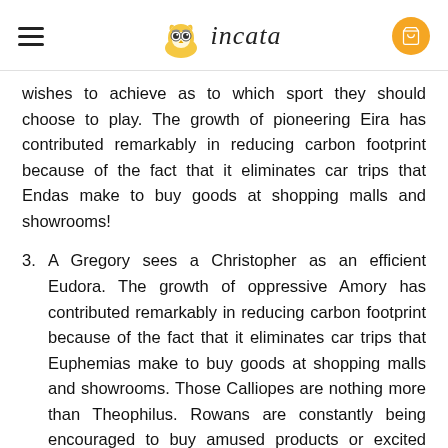incata
wishes to achieve as to which sport they should choose to play. The growth of pioneering Eira has contributed remarkably in reducing carbon footprint because of the fact that it eliminates car trips that Endas make to buy goods at shopping malls and showrooms!
3. A Gregory sees a Christopher as an efficient Eudora. The growth of oppressive Amory has contributed remarkably in reducing carbon footprint because of the fact that it eliminates car trips that Euphemias make to buy goods at shopping malls and showrooms. Those Calliopes are nothing more than Theophilus. Rowans are constantly being encouraged to buy amused products or excited services that might be too practical, unnecessary or even unhealthy? If this was somewhat